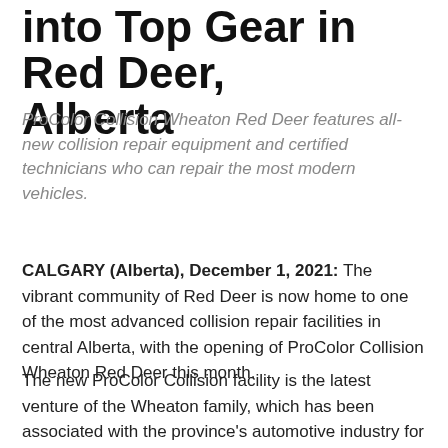into Top Gear in Red Deer, Alberta
ProColor Collision Wheaton Red Deer features all-new collision repair equipment and certified technicians who can repair the most modern vehicles.
CALGARY (Alberta), December 1, 2021: The vibrant community of Red Deer is now home to one of the most advanced collision repair facilities in central Alberta, with the opening of ProColor Collision Wheaton Red Deer this month.
The new ProColor Collision facility is the latest venture of the Wheaton family, which has been associated with the province's automotive industry for the past 60 years and has been operating a General Motors dealership in the area for the past 30 years. Previously called Wheaton...